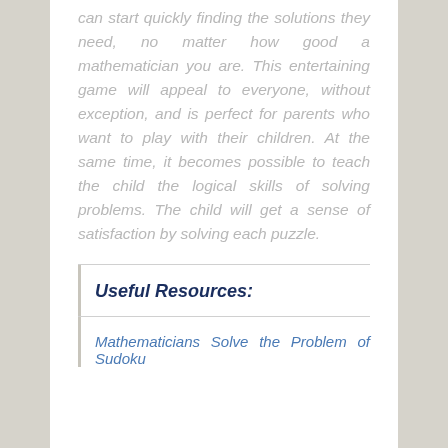can start quickly finding the solutions they need, no matter how good a mathematician you are. This entertaining game will appeal to everyone, without exception, and is perfect for parents who want to play with their children. At the same time, it becomes possible to teach the child the logical skills of solving problems. The child will get a sense of satisfaction by solving each puzzle.
Useful Resources:
Mathematicians Solve the Problem of Sudoku